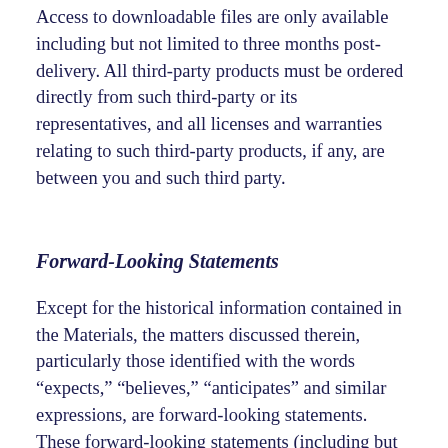Access to downloadable files are only available including but not limited to three months post-delivery. All third-party products must be ordered directly from such third-party or its representatives, and all licenses and warranties relating to such third-party products, if any, are between you and such third party.
Forward-Looking Statements
Except for the historical information contained in the Materials, the matters discussed therein, particularly those identified with the words “expects,” “believes,” “anticipates” and similar expressions, are forward-looking statements. These forward-looking statements (including but not limited to projections and other statements regarding future events or the future financial performance of the Company) reflect the Company’s best judgment based on factors known to it